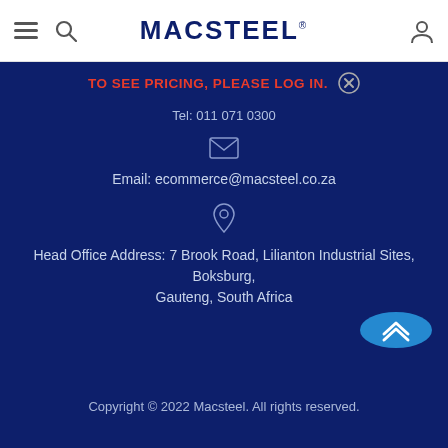MACSTEEL
TO SEE PRICING, PLEASE LOG IN.
Tel: 011 071 0300
Email: ecommerce@macsteel.co.za
Head Office Address: 7 Brook Road, Lilianton Industrial Sites, Boksburg, Gauteng, South Africa
Copyright © 2022 Macsteel. All rights reserved.